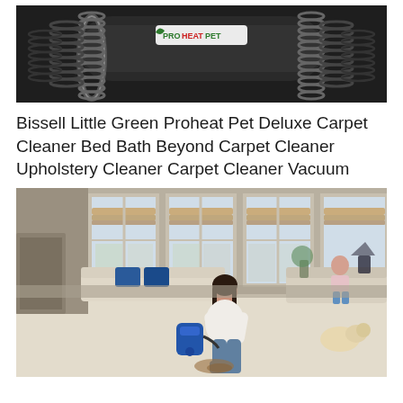[Figure (photo): Bissell Little Green Proheat Pet carpet cleaner product shot showing the device with a coiled hose around it and the PROHEATPET logo visible on the top.]
Bissell Little Green Proheat Pet Deluxe Carpet Cleaner Bed Bath Beyond Carpet Cleaner Upholstery Cleaner Carpet Cleaner Vacuum
[Figure (photo): Lifestyle photo of a woman in a white shirt kneeling on a cream carpet in a living room, using a Bissell Little Green Proheat Pet carpet cleaner on a stain. A girl and a golden/white dog are seated on a sofa in the background, with large windows letting in natural light.]